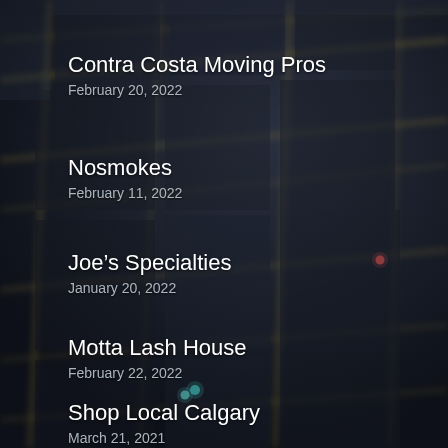[Figure (map): Dark aerial/satellite map view of city blocks with grid streets, blurred background with glowing yellow street lines, small colored dots indicating business locations]
Contra Costa Moving Pros
February 20, 2022
Nosmokes
February 11, 2022
Joe's Specialties
January 20, 2022
Motta Lash House
February 22, 2022
Shop Local Calgary
March 21, 2021